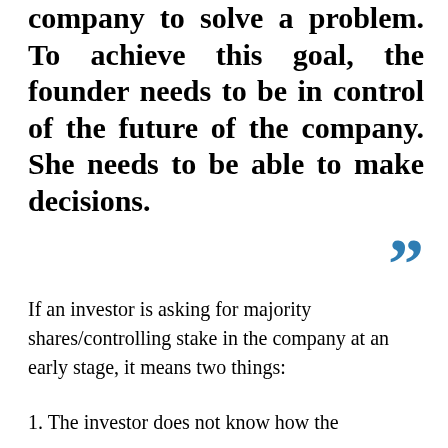company to solve a problem. To achieve this goal, the founder needs to be in control of the future of the company. She needs to be able to make decisions.
”
If an investor is asking for majority shares/controlling stake in the company at an early stage, it means two things:
1. The investor does not know how the